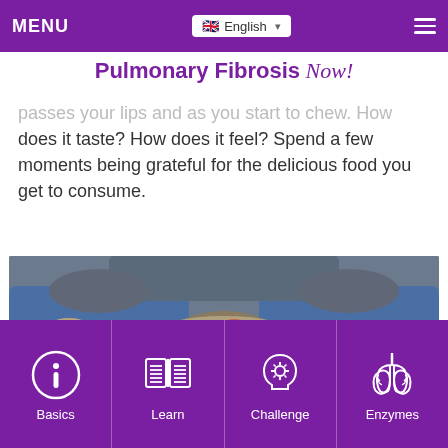MENU | English | (hamburger menu)
Pulmonary Fibrosis Now!
passes your lips and as you start to chew. How does it taste? How does it feel? Spend a few moments being grateful for the delicious food you get to consume.
[Figure (photo): Person sitting cross-legged in ripped jeans holding a bowl of food topped with fruits, berries and figs, photographed from above/front]
Basics | Learn | Challenge | Enzymes